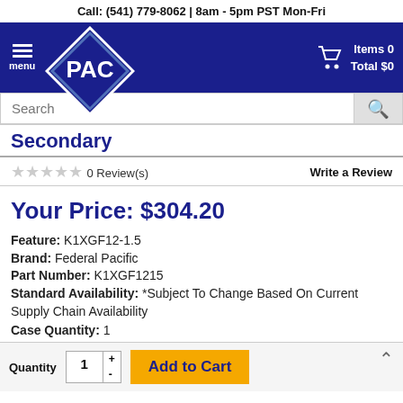Call: (541) 779-8062 | 8am - 5pm PST Mon-Fri
[Figure (logo): PAC company logo with navigation bar showing menu, PAC diamond logo, search bar, and cart showing Items 0, Total $0]
Secondary
☆☆☆☆☆ 0 Review(s)   Write a Review
Your Price: $304.20
Feature: K1XGF12-1.5
Brand: Federal Pacific
Part Number: K1XGF1215
Standard Availability: *Subject To Change Based On Current Supply Chain Availability
Case Quantity: 1
Quantity  1  +  -  Add to Cart